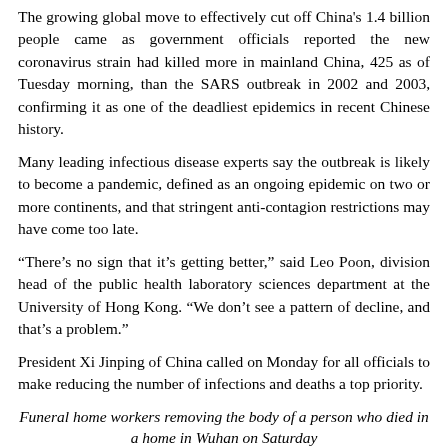The growing global move to effectively cut off China's 1.4 billion people came as government officials reported the new coronavirus strain had killed more in mainland China, 425 as of Tuesday morning, than the SARS outbreak in 2002 and 2003, confirming it as one of the deadliest epidemics in recent Chinese history.
Many leading infectious disease experts say the outbreak is likely to become a pandemic, defined as an ongoing epidemic on two or more continents, and that stringent anti-contagion restrictions may have come too late.
“There’s no sign that it’s getting better,” said Leo Poon, division head of the public health laboratory sciences department at the University of Hong Kong. “We don’t see a pattern of decline, and that’s a problem.”
President Xi Jinping of China called on Monday for all officials to make reducing the number of infections and deaths a top priority.
Funeral home workers removing the body of a person who died in a home in Wuhan on Saturday
Mr. Xi presided over a meeting of senior Communist Party leaders at which they acknowledged shortcomings in policies on public health and emergency management, according to a report by